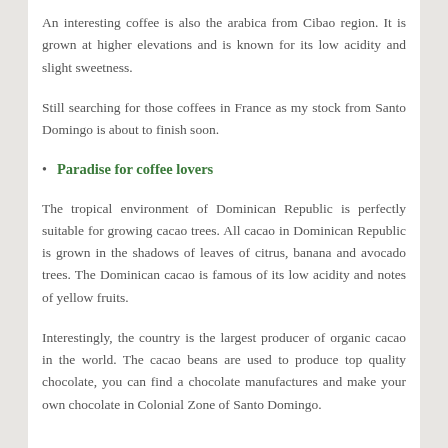An interesting coffee is also the arabica from Cibao region. It is grown at higher elevations and is known for its low acidity and slight sweetness.
Still searching for those coffees in France as my stock from Santo Domingo is about to finish soon.
Paradise for coffee lovers
The tropical environment of Dominican Republic is perfectly suitable for growing cacao trees. All cacao in Dominican Republic is grown in the shadows of leaves of citrus, banana and avocado trees. The Dominican cacao is famous of its low acidity and notes of yellow fruits.
Interestingly, the country is the largest producer of organic cacao in the world. The cacao beans are used to produce top quality chocolate, you can find a chocolate manufactures and make your own chocolate in Colonial Zone of Santo Domingo.